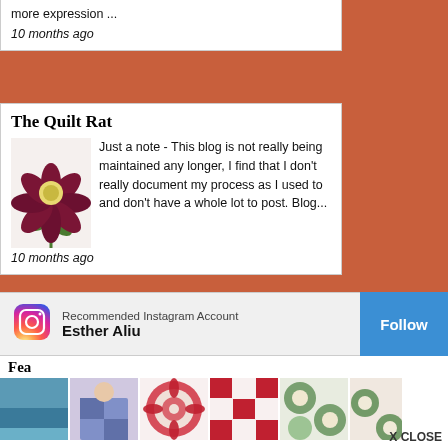more expression ...
10 months ago
The Quilt Rat
Just a note - This blog is not really being maintained any longer, I find that I don't really document my process as I used to and don't have a whole lot to post. Blog...
10 months ago
The Pickledish Patch
Finally Back!! - Hello everyone.... I feel like I am a prehistoric dinosaur with my blog... So long since I did a post... well I will do one now...
Gra...
1 ye...
Recommended Instagram Account
Esther Aliu
Follow
Fea...
X CLOSE